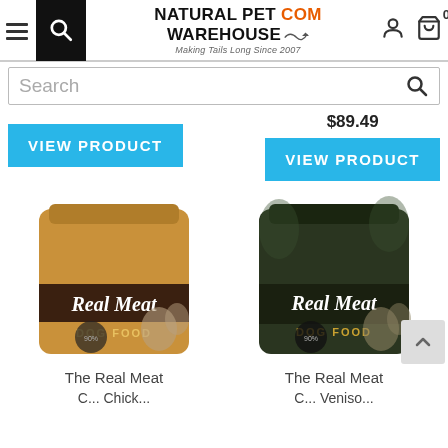[Figure (screenshot): Natural Pet Warehouse website header with hamburger menu, search icon, logo, user icon, and cart with 0 items]
[Figure (screenshot): Search bar with placeholder text 'Search' and magnifying glass icon]
$89.49
[Figure (screenshot): Blue 'VIEW PRODUCT' button on left side]
[Figure (screenshot): Blue 'VIEW PRODUCT' button on right side]
[Figure (photo): The Real Meat brand dog food bag in tan/brown packaging with cursive 'Real Meat' branding and 'DOG FOOD' label]
[Figure (photo): The Real Meat brand dog food bag in dark green/black packaging with cursive 'Real Meat' branding and 'DOG FOOD' label]
The Real Meat C... Chick...
The Real Meat C... Veniso...